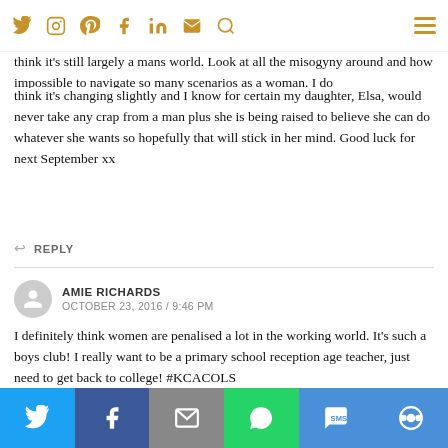Navigation bar with social icons and hamburger menu
think it's still largely a mans world. Look at all the misogyny around and how impossible to navigate so many scenarios as a woman. I do think it's changing slightly and I know for certain my daughter, Elsa, would never take any crap from a man plus she is being raised to believe she can do whatever she wants so hopefully that will stick in her mind. Good luck for next September xx
REPLY
AMIE RICHARDS
OCTOBER 23, 2016 / 9:46 PM
I definitely think women are penalised a lot in the working world. It's such a boys club! I really want to be a primary school reception age teacher, just need to get back to college! #KCACOLS
REPLY
[Figure (infographic): Social share bar at bottom with Twitter (blue), Facebook (dark blue), Email (grey), WhatsApp (green), SMS (blue), and More (blue) buttons with white icons]